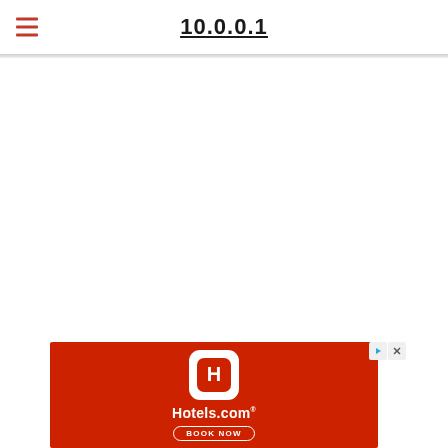10.0.0.1
[Figure (screenshot): Web browser screenshot showing a router admin page at 10.0.0.1 with a hamburger menu icon on the left, the URL '10.0.0.1' underlined in the center, a horizontal divider line, blank white content area, and a Hotels.com advertisement banner at the bottom with red background, Hotels.com app icon, brand name, and BOOK NOW button.]